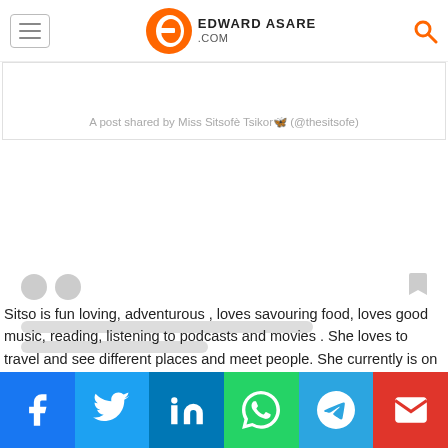[Figure (logo): Edward Asare .com logo with orange E icon and site name]
[Figure (screenshot): Instagram embedded post placeholder showing loading state with gray skeleton bars and caption: A post shared by Miss Sitsofè Tsikor🦋 (@thesitsofe)]
Sitso is fun loving, adventurous , loves savouring food, loves good music, reading, listening to podcasts and movies . She loves to travel and see different places and meet people. She currently is on the set of
[Figure (infographic): Social sharing bar with Facebook, Twitter, LinkedIn, WhatsApp, Telegram, and Email buttons]